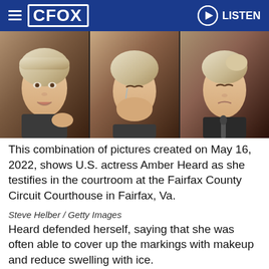CFOX | LISTEN
[Figure (photo): Combination of three photos showing U.S. actress Amber Heard testifying in the courtroom at the Fairfax County Circuit Courthouse]
This combination of pictures created on May 16, 2022, shows U.S. actress Amber Heard as she testifies in the courtroom at the Fairfax County Circuit Courthouse in Fairfax, Va.
Steve Helber / Getty Images
Heard defended herself, saying that she was often able to cover up the markings with makeup and reduce swelling with ice.
Heard also denied leaking photos of said injuries, which made their way to the cover of Peo